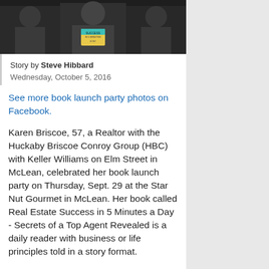[Figure (photo): Group photo of people at a book launch party, holding a book with yellow/teal cover]
Story by Steve Hibbard
Wednesday, October 5, 2016
See more book launch party photos on Facebook.
Karen Briscoe, 57, a Realtor with the Huckaby Briscoe Conroy Group (HBC) with Keller Williams on Elm Street in McLean, celebrated her book launch party on Thursday, Sept. 29 at the Star Nut Gourmet in McLean. Her book called Real Estate Success in 5 Minutes a Day - Secrets of a Top Agent Revealed is a daily reader with business or life principles told in a story format.
"This is a takeaway for every day that you can put into action. If you invest five minutes a day over a year, you'll achieve a high level of success," said Briscoe, a 22-year resident of McLean. "They're basic business and life